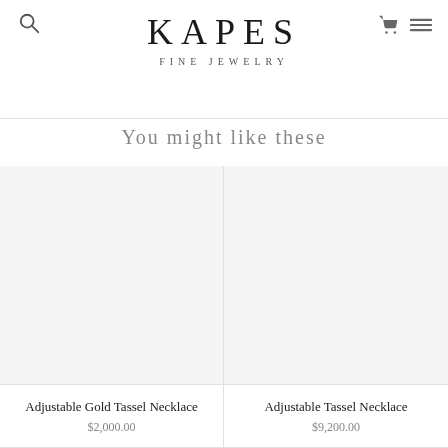KAPES FINE JEWELRY
You might like these
[Figure (photo): Product image placeholder for Adjustable Gold Tassel Necklace (white/light grey background)]
Adjustable Gold Tassel Necklace
$2,000.00
[Figure (photo): Product image placeholder for Adjustable Tassel Necklace (white/light grey background)]
Adjustable Tassel Necklace
$9,200.00